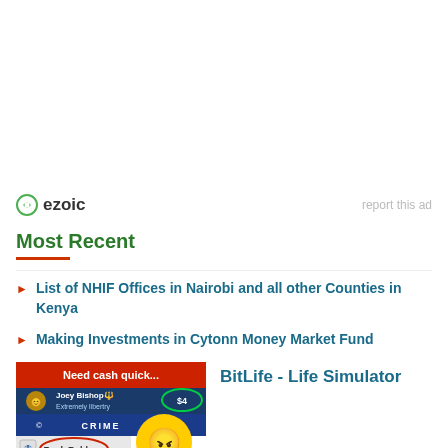[Figure (logo): Ezoic logo with green circular icon and 'ezoic' text in bold]
report this ad
Most Recent
List of NHIF Offices in Nairobi and all other Counties in Kenya
Making Investments in Cytonn Money Market Fund
[Figure (screenshot): BitLife - Life Simulator app advertisement screenshot showing 'Need cash quick...' with Bank Robbery option and game character]
BitLife - Life Simulator
Ad